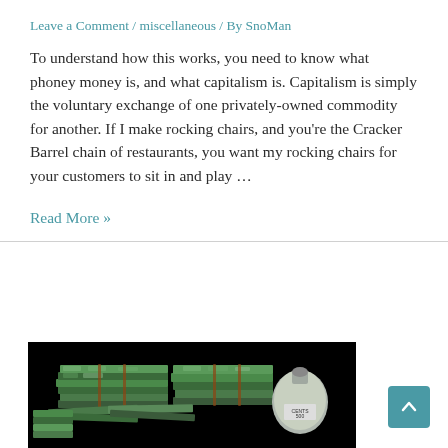Leave a Comment / miscellaneous / By SnoMan
To understand how this works, you need to know what phoney money is, and what capitalism is. Capitalism is simply the voluntary exchange of one privately-owned commodity for another. If I make rocking chairs, and you’re the Cracker Barrel chain of restaurants, you want my rocking chairs for your customers to sit in and play …
Read More »
[Figure (photo): Stacks of bundled US dollar bills and a money bag labeled CENTS 500 on a black background]